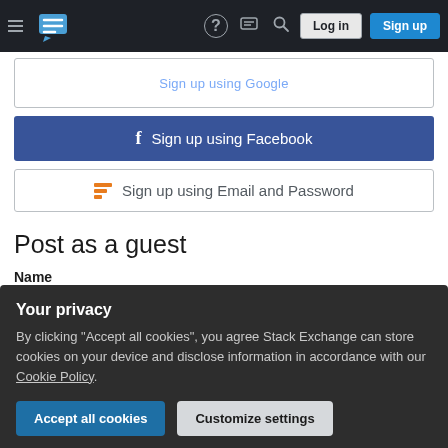Stack Exchange navigation bar with Log in and Sign up buttons
Sign up using Google (partial, cropped)
f Sign up using Facebook
Sign up using Email and Password
Post as a guest
Name
Email
Required, but never shown
Your privacy
By clicking "Accept all cookies", you agree Stack Exchange can store cookies on your device and disclose information in accordance with our Cookie Policy.
Accept all cookies
Customize settings